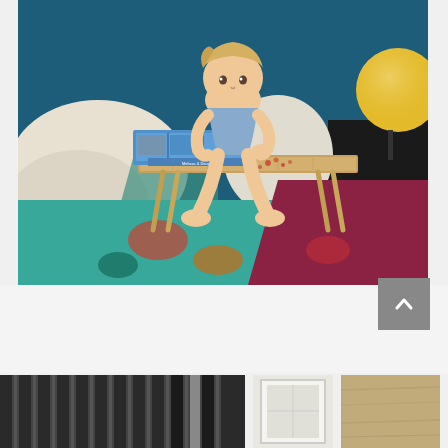[Figure (photo): A young toddler with blonde hair sits on a bed with colorful patterned bedding (teal, red, paisley). The child is playing with a wooden lap desk/tray table that has folding legs. On the tray is a blue organizer box (Melissa & Doug brand) with compartments containing small items. The background shows a dark teal/blue wall, white pillows, a nightstand with a yellow globe lamp and other items. The child is wearing a light blue short-sleeved shirt.]
[Figure (photo): Thumbnail image showing what appears to be dark vertical blinds or curtain panels with a narrow vertical element.]
[Figure (photo): Thumbnail image showing a white or light-colored frame or door element against a light background.]
[Figure (photo): Thumbnail image showing a close-up of what appears to be a wood or fabric surface in neutral/tan tones.]